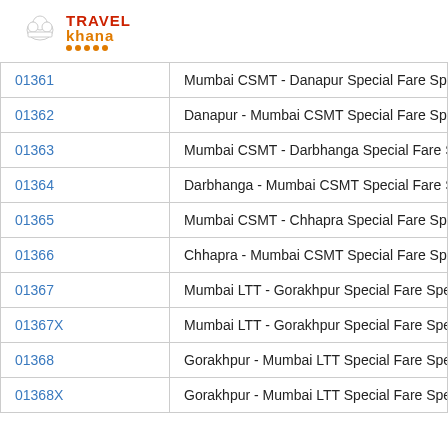[Figure (logo): TravelKhana logo with chef hat icon, red TRAVEL text, orange khana text, and orange dots underline]
| Train No. | Train Name |
| --- | --- |
| 01361 | Mumbai CSMT - Danapur Special Fare Spec |
| 01362 | Danapur - Mumbai CSMT Special Fare Spec |
| 01363 | Mumbai CSMT - Darbhanga Special Fare Sp |
| 01364 | Darbhanga - Mumbai CSMT Special Fare Sp |
| 01365 | Mumbai CSMT - Chhapra Special Fare Spec |
| 01366 | Chhapra - Mumbai CSMT Special Fare Spec |
| 01367 | Mumbai LTT - Gorakhpur Special Fare Spec |
| 01367X | Mumbai LTT - Gorakhpur Special Fare Spec |
| 01368 | Gorakhpur - Mumbai LTT Special Fare Spec |
| 01368X | Gorakhpur - Mumbai LTT Special Fare Spec |